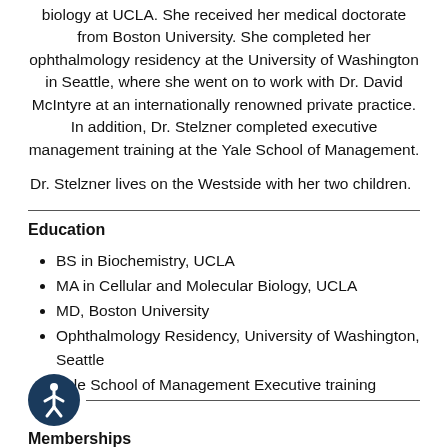biology at UCLA. She received her medical doctorate from Boston University. She completed her ophthalmology residency at the University of Washington in Seattle, where she went on to work with Dr. David McIntyre at an internationally renowned private practice. In addition, Dr. Stelzner completed executive management training at the Yale School of Management.
Dr. Stelzner lives on the Westside with her two children.
Education
BS in Biochemistry, UCLA
MA in Cellular and Molecular Biology, UCLA
MD, Boston University
Ophthalmology Residency, University of Washington, Seattle
Yale School of Management Executive training
[Figure (illustration): Accessibility icon — circular dark blue badge with white stick figure person]
Memberships